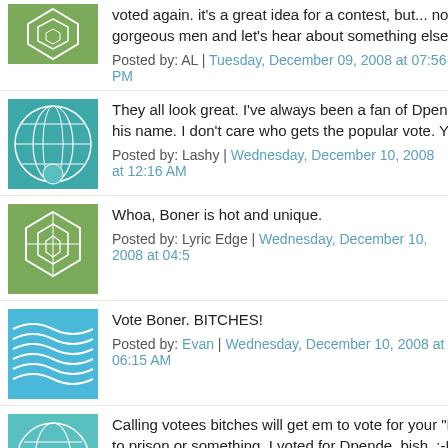voted again. it's a great idea for a contest, but... not worth all... gorgeous men and let's hear about something else. :)
Posted by: AL | Tuesday, December 09, 2008 at 07:56 PM
They all look great. I've always been a fan of Dpende even wh... his name. I don't care who gets the popular vote. Ya'll winner...
Posted by: Lashy | Wednesday, December 10, 2008 at 12:16 AM
Whoa, Boner is hot and unique.
Posted by: Lyric Edge | Wednesday, December 10, 2008 at 04:5...
Vote Boner. BITCHES!
Posted by: Evan | Wednesday, December 10, 2008 at 06:15 AM
Calling votees bitches will get em to vote for your "boner?" W... to prison or something. I voted for Dpende, bish. :-P Warrrrr...
Posted by: Lashy | Wednesday, December 10, 2008 at 12:38 PM